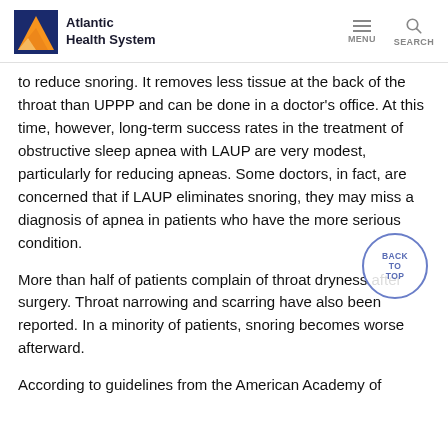Atlantic Health System | MENU | SEARCH
to reduce snoring. It removes less tissue at the back of the throat than UPPP and can be done in a doctor's office. At this time, however, long-term success rates in the treatment of obstructive sleep apnea with LAUP are very modest, particularly for reducing apneas. Some doctors, in fact, are concerned that if LAUP eliminates snoring, they may miss a diagnosis of apnea in patients who have the more serious condition.
More than half of patients complain of throat dryness after surgery. Throat narrowing and scarring have also been reported. In a minority of patients, snoring becomes worse afterward.
According to guidelines from the American Academy of